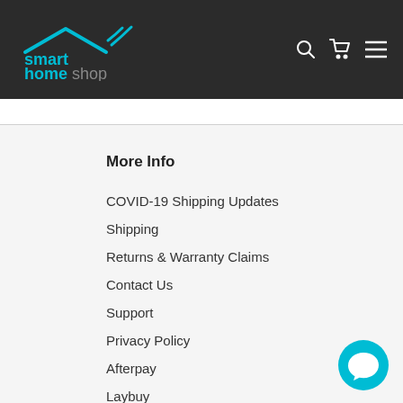smart home shop
More Info
COVID-19 Shipping Updates
Shipping
Returns & Warranty Claims
Contact Us
Support
Privacy Policy
Afterpay
Laybuy
SDocs and Certificates